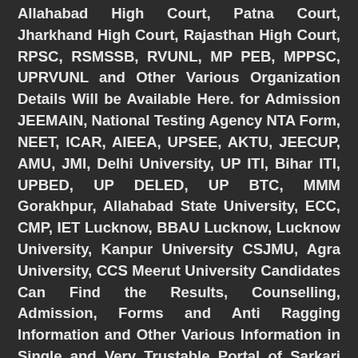Allahabad High Court, Patna Court, Jharkhand High Court, Rajasthan High Court, RPSC, RSMSSB, RVUNL, MP PEB, MPPSC, UPRVUNL and Other Various Organization Details Will be Available Here. for Admission JEEMAIN, National Testing Agency NTA Form, NEET, ICAR, AIEEA, UPSEE, AKTU, JEECUP, AMU, JMI, Delhi University, UP ITI, Bihar ITI, UPBED, UP DELED, UP BTC, MMM Gorakhpur, Allahabad State University, ECC, CMP, IET Lucknow, BBAU Lucknow, Lucknow University, Kanpur University CSJMU, Agra University, CCS Meerut University Candidates Can Find the Results, Counselling, Admission, Forms and Anti Ragging Information and Other Various Information in Single and Very Trustable Portal of Sarkari Result. – Sarkari Result– There is a reliable portal that provides you all information related to jobs and admissions in one place. Candidates can see all the information by visiting the official results website and can also get all the information through Our Website Sarkari Result :